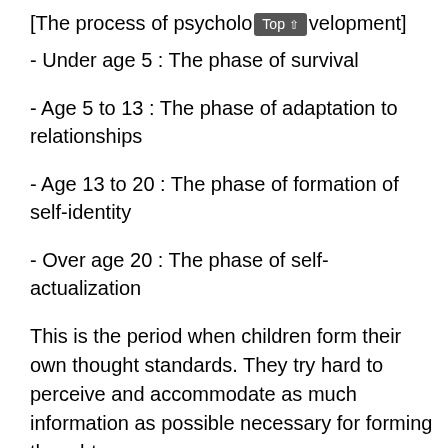[The process of psychological development]
- Under age 5 : The phase of survival
- Age 5 to 13 : The phase of adaptation to relationships
- Age 13 to 20 : The phase of formation of self-identity
- Over age 20 : The phase of self-actualization
This is the period when children form their own thought standards. They try hard to perceive and accommodate as much information as possible necessary for forming thought standards. They employ adequate strategies for adapting themselves to relationships as the basis for forming thought standards in relationships. They begin to pursue self-